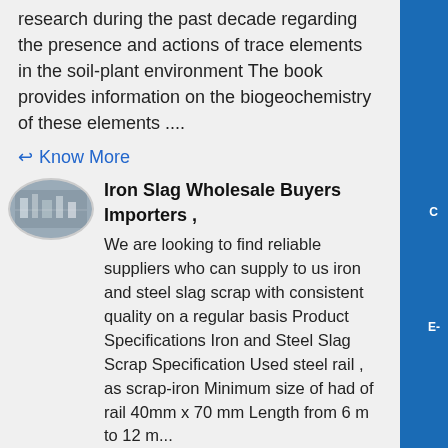research during the past decade regarding the presence and actions of trace elements in the soil-plant environment The book provides information on the biogeochemistry of these elements ....
Know More
Iron Slag Wholesale Buyers Importers ,
[Figure (photo): Oval-shaped thumbnail photo of an industrial facility interior]
We are looking to find reliable suppliers who can supply to us iron and steel slag scrap with consistent quality on a regular basis Product Specifications Iron and Steel Slag Scrap Specification Used steel rail , as scrap-iron Minimum size of had of rail 40mm x 70 mm Length from 6 m to 12 m...
Know More
[Figure (photo): Oval-shaped thumbnail photo of industrial/greenhouse gas related image]
List of countries by greenhouse gas